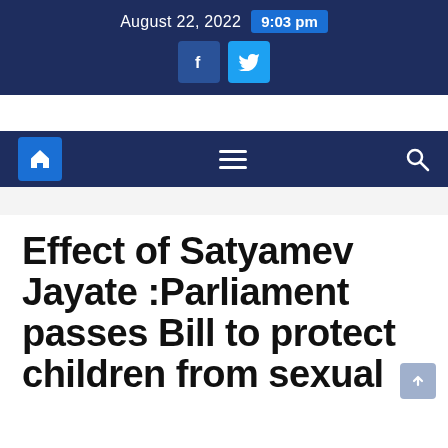August 22, 2022  9:03 pm
Effect of Satyamev Jayate :Parliament passes Bill to protect children from sexual